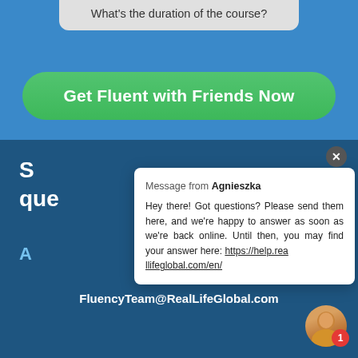What's the duration of the course?
Get Fluent with Friends Now
Still have questions?
A
FluencyTeam@RealLifeGlobal.com
Message from Agnieszka
Hey there! Got questions? Please send them here, and we're happy to answer as soon as we're back online. Until then, you may find your answer here: https://help.reallifeglobal.com/en/